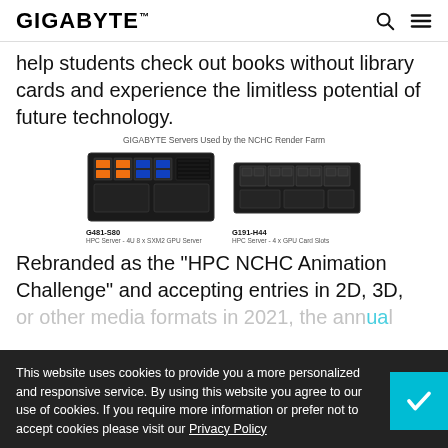GIGABYTE
help students check out books without library cards and experience the limitless potential of future technology.
GIGABYTE Servers Used by the NCHC Render Farm
[Figure (photo): Two GIGABYTE HPC servers: G481-S80 (HPC Server - 4U 8 x SXM2 GPU Server) and G191-H44 (HPC Server - 4 x GPU Card Slots)]
Rebranded as the "HPC NCHC Animation Challenge" and accepting entries in 2D, 3D, or other media formats in 2021, the annual ... ive year ... such as ... in the ... al of 822 ... 253 teams participated in the
This website uses cookies to provide you a more personalized and responsive service. By using this website you agree to our use of cookies. If you require more information or prefer not to accept cookies please visit our Privacy Policy